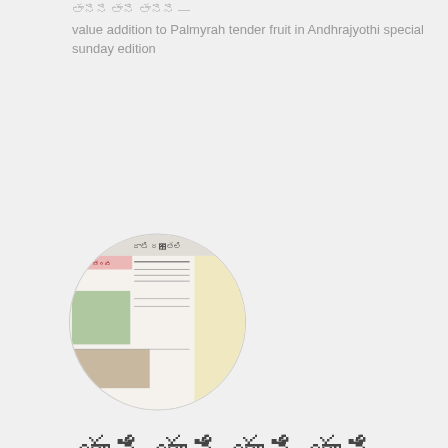value addition to Palmyrah tender fruit in Andhrajyothi special sunday edition
[Figure (photo): Circular profile photo showing a newspaper page with Telugu text and images related to Palmyrah tender fruit]
– value addition to Palmyrah tender fruit in Andhrajyothi special sunday